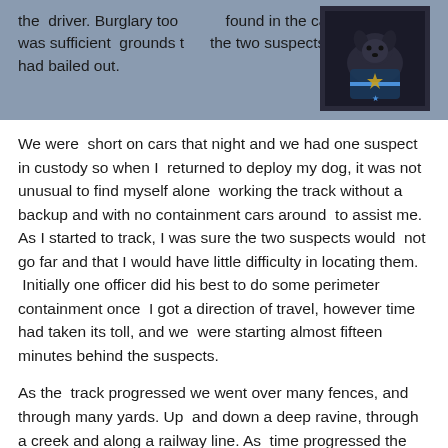the driver. Burglary too found in the car and there was sufficient grounds t the two suspects that had bailed out.
[Figure (illustration): A dark image of a police K9 dog with a blue line badge/shield emblem overlay, set against a dark background.]
We were short on cars that night and we had one suspect in custody so when I returned to deploy my dog, it was not unusual to find myself alone working the track without a backup and with no containment cars around to assist me. As I started to track, I was sure the two suspects would not go far and that I would have little difficulty in locating them. Initially one officer did his best to do some perimeter containment once I got a direction of travel, however time had taken its toll, and we were starting almost fifteen minutes behind the suspects.
As the track progressed we went over many fences, and through many yards. Up and down a deep ravine, through a creek and along a railway line. As time progressed the track proceeded about 2 miles and crossed from my